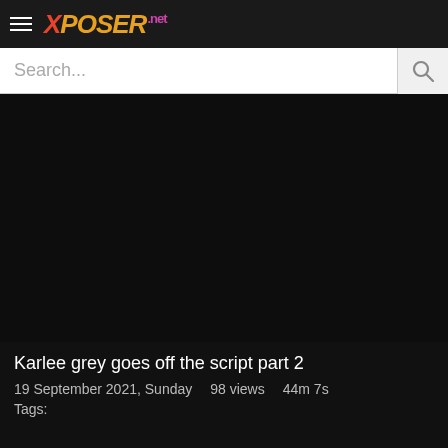XPOSER.net
Search...
[Figure (screenshot): Black video player area with no content loaded]
Karlee grey goes off the script part 2
19 September 2021, Sunday  98 views  44m 7s
Tags: